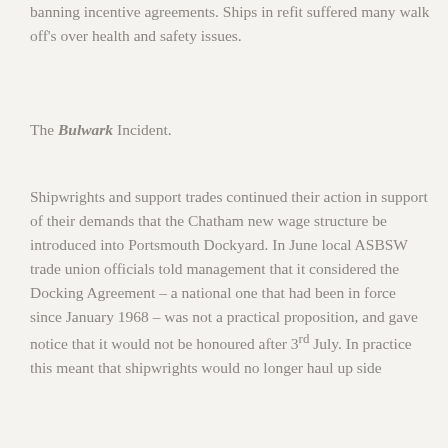banning incentive agreements. Ships in refit suffered many walk off's over health and safety issues.
The Bulwark Incident.
Shipwrights and support trades continued their action in support of their demands that the Chatham new wage structure be introduced into Portsmouth Dockyard. In June local ASBSW trade union officials told management that it considered the Docking Agreement – a national one that had been in force since January 1968 – was not a practical proposition, and gave notice that it would not be honoured after 3rd July. In practice this meant that shipwrights would no longer haul up side